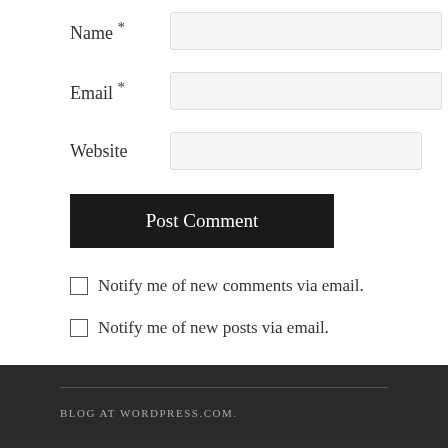Name *
Email *
Website
Post Comment
Notify me of new comments via email.
Notify me of new posts via email.
BLOG AT WORDPRESS.COM.